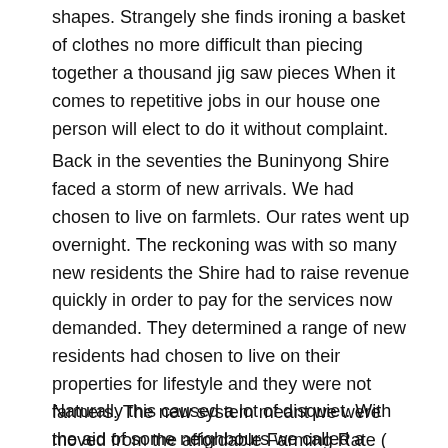shapes. Strangely she finds ironing a basket of clothes no more difficult than piecing together a thousand jig saw pieces When it comes to repetitive jobs in our house one person will elect to do it without complaint.
Back in the seventies the Buninyong Shire faced a storm of new arrivals. We had chosen to live on farmlets. Our rates went up overnight. The reckoning was with so many new residents the Shire had to raise revenue quickly in order to pay for the services now demanded. They determined a range of new residents had chosen to live on their properties for lifestyle and they were not farmers. The new system meant we were moved from the affordable Farming Rate ( rated so much in the dollar per acre) to Residential (a rate based on the house value.)
Naturally this caused a lot of disquiet. With the aid of some neighbours we called a meeting of affected people.